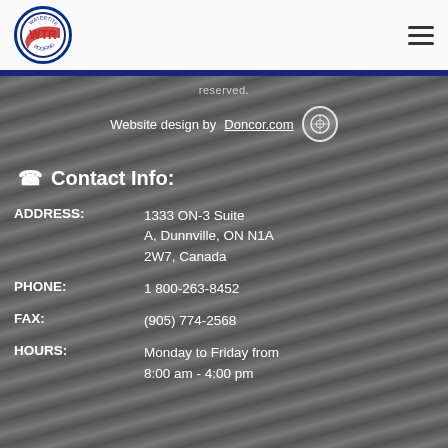[Figure (logo): Watertite Roofing circular logo with WTR initials in red on white background, dark blue border]
Watertite Roofing website header with logo and hamburger menu icon
reserved.
Website design by Doncor.com
Contact Info:
ADDRESS: 1333 ON-3 Suite A, Dunnville, ON N1A 2W7, Canada
PHONE: 1 800-263-8452
FAX: (905) 774-2568
HOURS: Monday to Friday from 8:00 am - 4:00 pm